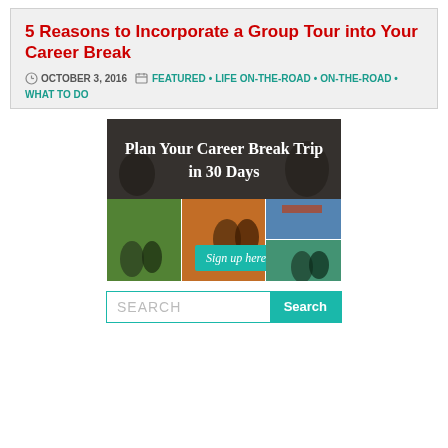5 Reasons to Incorporate a Group Tour into Your Career Break
OCTOBER 3, 2016  •  FEATURED • LIFE ON-THE-ROAD • ON-THE-ROAD • WHAT TO DO
[Figure (illustration): Promotional banner image for 'Plan Your Career Break Trip in 30 Days' with a collage of travel photos and a teal 'Sign up here!' button]
SEARCH  Search